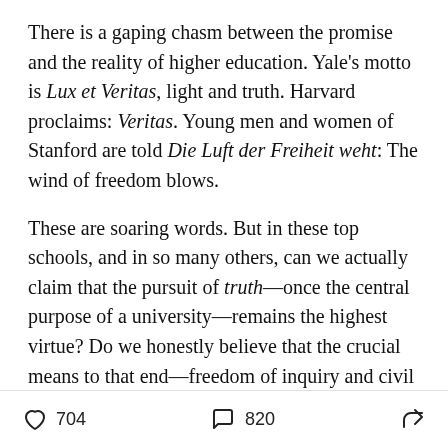There is a gaping chasm between the promise and the reality of higher education. Yale's motto is Lux et Veritas, light and truth. Harvard proclaims: Veritas. Young men and women of Stanford are told Die Luft der Freiheit weht: The wind of freedom blows.
These are soaring words. But in these top schools, and in so many others, can we actually claim that the pursuit of truth—once the central purpose of a university—remains the highest virtue? Do we honestly believe that the crucial means to that end—freedom of inquiry and civil discourse—prevail when illiberalism has become a pervasive feature of campus life?
The numbers tell the story as well as any anecdote you've read in the headlines or heard within your own…
704 likes · 820 comments